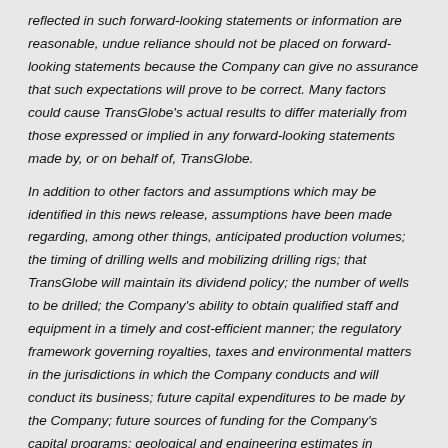reflected in such forward-looking statements or information are reasonable, undue reliance should not be placed on forward-looking statements because the Company can give no assurance that such expectations will prove to be correct. Many factors could cause TransGlobe's actual results to differ materially from those expressed or implied in any forward-looking statements made by, or on behalf of, TransGlobe.
In addition to other factors and assumptions which may be identified in this news release, assumptions have been made regarding, among other things, anticipated production volumes; the timing of drilling wells and mobilizing drilling rigs; that TransGlobe will maintain its dividend policy; the number of wells to be drilled; the Company's ability to obtain qualified staff and equipment in a timely and cost-efficient manner; the regulatory framework governing royalties, taxes and environmental matters in the jurisdictions in which the Company conducts and will conduct its business; future capital expenditures to be made by the Company; future sources of funding for the Company's capital programs; geological and engineering estimates in respect of the Company's reserves and resources; the geography of the areas in which the Company is conducting exploration and development activities; current commodity prices and royalty regimes; availability of skilled labour; future exchange rates; the